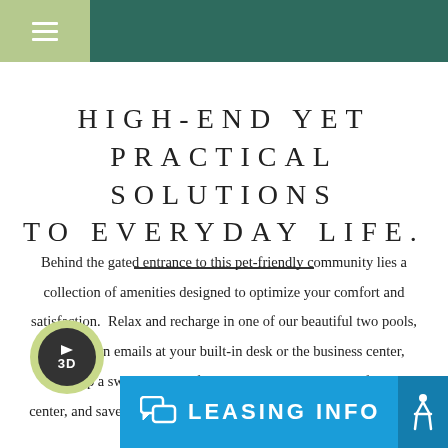Navigation bar with hamburger menu
HIGH-END YET PRACTICAL SOLUTIONS TO EVERYDAY LIFE.
Behind the gated entrance to this pet-friendly community lies a collection of amenities designed to optimize your comfort and satisfaction.  Relax and recharge in one of our beautiful two pools, catch up on emails at your built-in desk or the business center, work up a sweat with the free weights in the upgraded fitness center, and save time when paying rent and submitting work orders with our easy-to-
[Figure (logo): 3D tour badge - circular green and dark button with '3D' label]
[Figure (infographic): Leasing info bar in blue with chat icon and 'LEASING INFO' text]